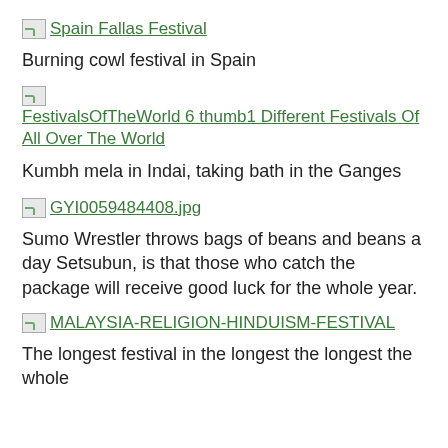[Figure (photo): Broken image placeholder linking to Spain Fallas Festival]
Burning cowl festival in Spain
[Figure (photo): Broken image placeholder linking to FestivalsOfTheWorld 6 thumb1 Different Festivals Of All Over The World]
Kumbh mela in Indai, taking bath in the Ganges
[Figure (photo): Broken image placeholder linking to GYI0059484408.jpg]
Sumo Wrestler throws bags of beans and beans a day Setsubun, is that those who catch the package will receive good luck for the whole year.
[Figure (photo): Broken image placeholder linking to MALAYSIA-RELIGION-HINDUISM-FESTIVAL]
The longest festival in the longest the longest the whole